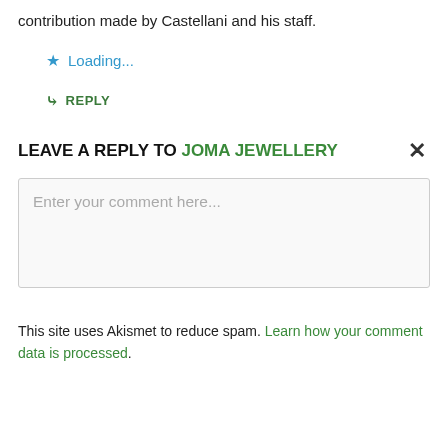contribution made by Castellani and his staff.
★ Loading...
↳ REPLY
LEAVE A REPLY TO JOMA JEWELLERY ×
Enter your comment here...
This site uses Akismet to reduce spam. Learn how your comment data is processed.